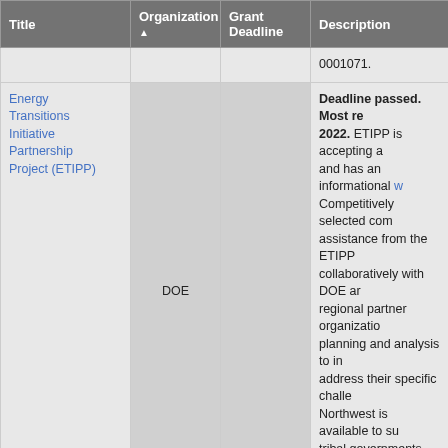| Title | Organization ▲ | Grant Deadline | Description |
| --- | --- | --- | --- |
|  |  |  | 0001071. |
| Energy Transitions Initiative Partnership Project (ETIPP) | DOE |  | Deadline passed. Most re 2022. ETIPP is accepting a and has an informational w Competitively selected com assistance from the ETIPP collaboratively with DOE ar regional partner organizatio planning and analysis to in address their specific challe Northwest is available to su tribal governments with the and apply here. |
|  |  |  | Grant Status Unknown. A technologies and systems e effective delivery of new bu significantly lower building seeks to fund demonstratio for technologies that are re that may be underutilized d |